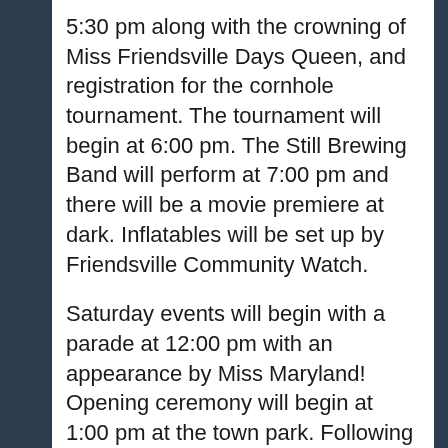5:30 pm along with the crowning of Miss Friendsville Days Queen, and registration for the cornhole tournament. The tournament will begin at 6:00 pm. The Still Brewing Band will perform at 7:00 pm and there will be a movie premiere at dark. Inflatables will be set up by Friendsville Community Watch.
Saturday events will begin with a parade at 12:00 pm with an appearance by Miss Maryland! Opening ceremony will begin at 1:00 pm at the town park. Following will be the John Wyrick Band. Show off your talents or simply kick back and enjoy the Variety Show at 2:00 pm. If you like balloons, comedy, and magic, Magician Dennis Regling will be performing at 4:00pm and if you're really hungry after all the excitement, a wing eating contest will be held at 5:30. The contest is sponsored by The Sports